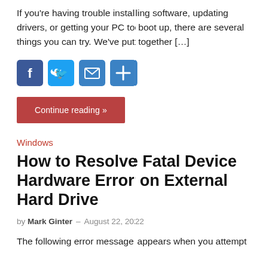If you're having trouble installing software, updating drivers, or getting your PC to boot up, there are several things you can try. We've put together [...]
[Figure (infographic): Social share buttons: Facebook (blue), Twitter (light blue), Email (blue envelope), Share/Plus (blue)]
Continue reading »
Windows
How to Resolve Fatal Device Hardware Error on External Hard Drive
by Mark Ginter – August 22, 2022
The following error message appears when you attempt